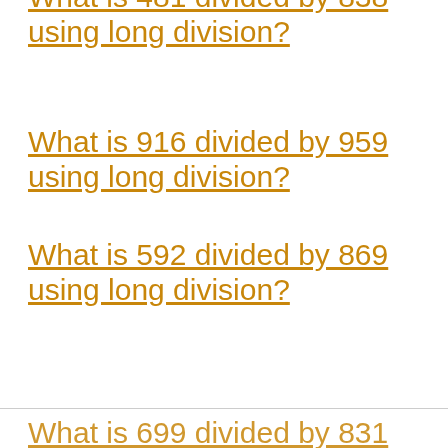What is 916 divided by 959 using long division?
What is 592 divided by 869 using long division?
What is 325 divided by 876 using long division?
What is 780 divided by 910 using long division?
What is 699 divided by 831 using long division?